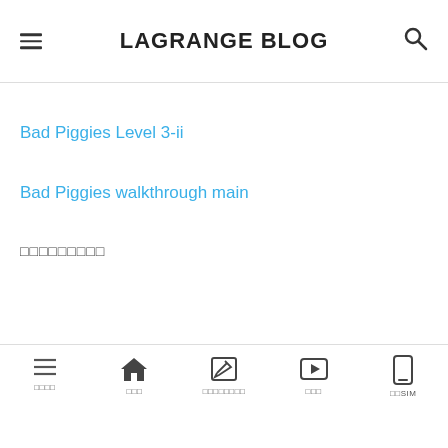LAGRANGE BLOG
Bad Piggies Level 3-ii
Bad Piggies walkthrough main
□□□□□□□□□
□□□□  □□□  □□□□□□□□  □□□  □□SIM